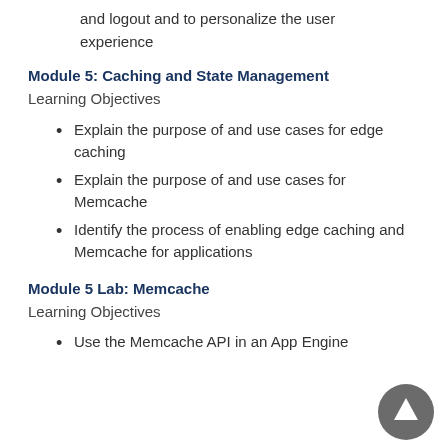and logout and to personalize the user experience
Module 5: Caching and State Management
Learning Objectives
Explain the purpose of and use cases for edge caching
Explain the purpose of and use cases for Memcache
Identify the process of enabling edge caching and Memcache for applications
Module 5 Lab: Memcache
Learning Objectives
Use the Memcache API in an App Engine